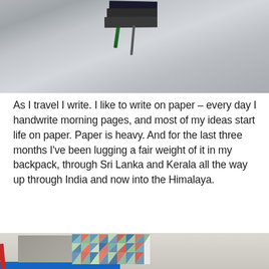[Figure (photo): Close-up photo of stacked notebooks and pencils on a light gray cloth/fabric background, with a leather bookmark visible]
As I travel I write. I like to write on paper – every day I handwrite morning pages, and most of my ideas start life on paper. Paper is heavy. And for the last three months I've been lugging a fair weight of it in my backpack, through Sri Lanka and Kerala all the way up through India and now into the Himalaya.
[Figure (photo): Photo of notebooks including a gray notebook and a colorful triangle-pattern notebook on top of other books/notebooks]